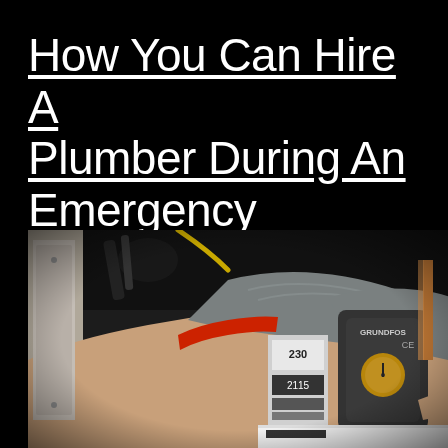How You Can Hire A Plumber During An Emergency
[Figure (photo): A person wearing a grey and red gloved hand working on plumbing equipment including a Grundfos pump and electrical components mounted on a wall or shelf]